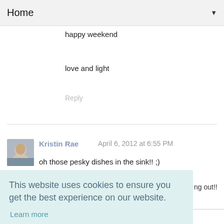Home ▼
happy weekend
love and light
Reply
Kristin Rae  April 6, 2012 at 6:55 PM
oh those pesky dishes in the sink!! ;)
ng out!!
This website uses cookies to ensure you get the best experience on our website.
Learn more
Got it!
ing to be
said you
Reply